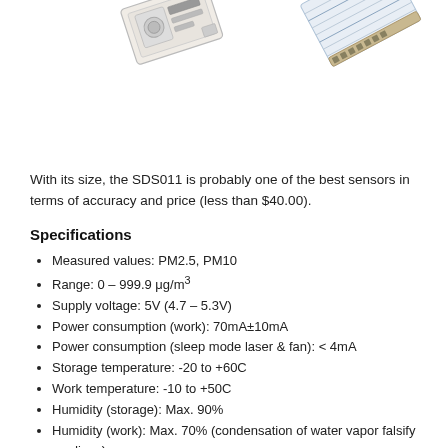[Figure (photo): Photo of the SDS011 particle sensor - small rectangular sensor and a flat ribbon cable connector, shown from a slightly angled perspective on a white background.]
With its size, the SDS011 is probably one of the best sensors in terms of accuracy and price (less than $40.00).
Specifications
Measured values: PM2.5, PM10
Range: 0 – 999.9 μg/m³
Supply voltage: 5V (4.7 – 5.3V)
Power consumption (work): 70mA±10mA
Power consumption (sleep mode laser & fan): < 4mA
Storage temperature: -20 to +60C
Work temperature: -10 to +50C
Humidity (storage): Max. 90%
Humidity (work): Max. 70% (condensation of water vapor falsify readings)
Accuracy:
70% for 0.3μm
98% for 0.5μm
Size: 71x70x23 mm
Certification: CE, FCC, RoHS